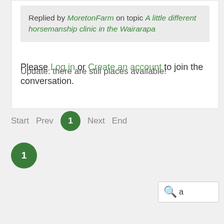Replied by MoretonFarm on topic A little different horsemanship clinic in the Wairarapa
Update: there are still places available!
Please Log in or Create an account to join the conversation.
Start  Prev  1  Next  End
1